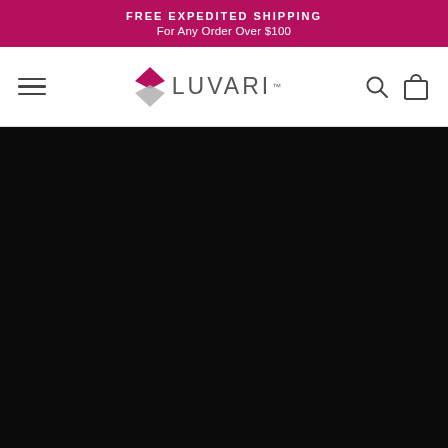FREE EXPEDITED SHIPPING For Any Order Over $100
[Figure (logo): Luvari brand logo with diamond/rhombus shape icon in magenta/pink and grey, followed by text LUVARI with TM mark]
[Figure (other): Black/very dark image area filling bottom portion of the page, likely a hero/banner image that did not load]